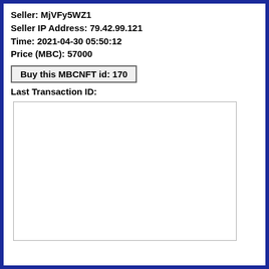Seller: MjVFy5WZ1
Seller IP Address: 79.42.99.121
Time: 2021-04-30 05:50:12
Price (MBC): 57000
Buy this MBCNFT id: 170
Last Transaction ID:
[Figure (other): Empty white rectangle with gray border, no content inside]